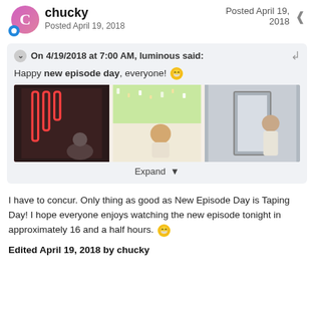chucky
Posted April 19, 2018
On 4/19/2018 at 7:00 AM, luminous said:
Happy new episode day, everyone! 😀
[Figure (photo): A scene with red neon lights on the left, a bright outdoor area in the middle, and a person in the right portion]
Expand
I have to concur. Only thing as good as New Episode Day is Taping Day! I hope everyone enjoys watching the new episode tonight in approximately 16 and a half hours. 😁
Edited April 19, 2018 by chucky